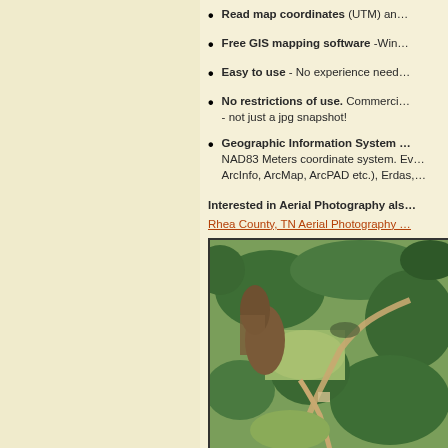Read map coordinates (UTM) an…
Free GIS mapping software -Win…
Easy to use - No experience need…
No restrictions of use. Commerci… - not just a jpg snapshot!
Geographic Information System … NAD83 Meters coordinate system. Ev… ArcInfo, ArcMap, ArcPAD etc.), Erdas,…
Interested in Aerial Photography als…
Rhea County, TN Aerial Photography …
[Figure (photo): Aerial photograph of Rhea County, TN showing fields, forested areas, dirt roads, and rural landscape from above.]